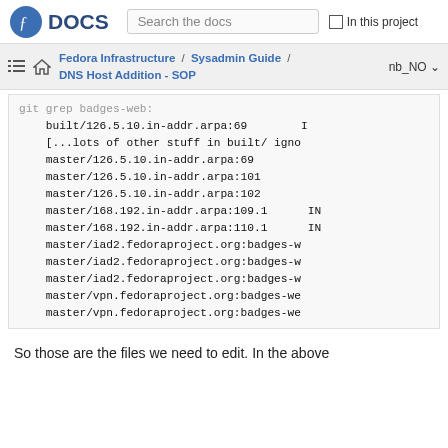Fedora DOCS | Search the docs | In this project
Fedora Infrastructure / Sysadmin Guide / DNS Host Addition - SOP | nb_NO
git grep badges-web:
    built/126.5.10.in-addr.arpa:69        I
    [...lots of other stuff in built/ igno
    master/126.5.10.in-addr.arpa:69
    master/126.5.10.in-addr.arpa:101
    master/126.5.10.in-addr.arpa:102
    master/168.192.in-addr.arpa:109.1      IN
    master/168.192.in-addr.arpa:110.1      IN
    master/iad2.fedoraproject.org:badges-w
    master/iad2.fedoraproject.org:badges-w
    master/iad2.fedoraproject.org:badges-w
    master/vpn.fedoraproject.org:badges-we
    master/vpn.fedoraproject.org:badges-we
So those are the files we need to edit. In the above